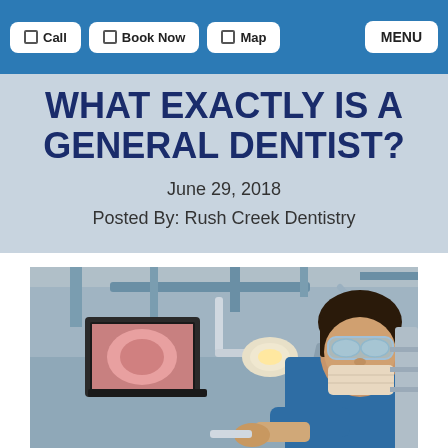Call | Book Now | Map | MENU
WHAT EXACTLY IS A GENERAL DENTIST?
June 29, 2018
Posted By: Rush Creek Dentistry
[Figure (photo): A dentist in blue scrubs and safety goggles and mask working with dental equipment in a clinical setting, with a monitor visible in the background showing an image.]